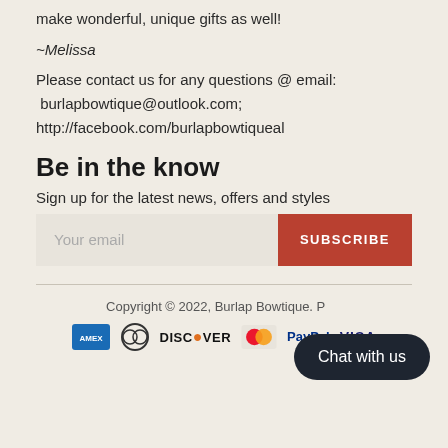make wonderful, unique gifts as well!
~Melissa
Please contact us for any questions @ email:
 burlapbowtique@outlook.com;
http://facebook.com/burlapbowtiqueal
Be in the know
Sign up for the latest news, offers and styles
Your email
SUBSCRIBE
Copyright © 2022, Burlap Bowtique. P...
[Figure (other): Payment method icons: American Express, Diners Club, Discover, Mastercard, PayPal, VISA]
Chat with us